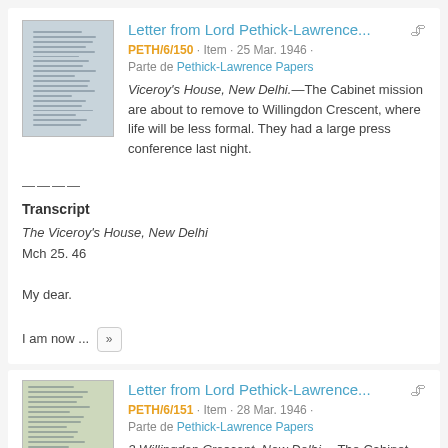Letter from Lord Pethick-Lawrence...
PETH/6/150 · Item · 25 Mar. 1946 · Parte de Pethick-Lawrence Papers
Viceroy's House, New Delhi.—The Cabinet mission are about to remove to Willingdon Crescent, where life will be less formal. They had a large press conference last night.
Transcript
The Viceroy's House, New Delhi
Mch 25. 46

My dear.

I am now ...
Letter from Lord Pethick-Lawrence...
PETH/6/151 · Item · 28 Mar. 1946 · Parte de Pethick-Lawrence Papers
2 Willingdon Crescent, New Delhi.—The Cabinet mission have met with the Executive Council, the